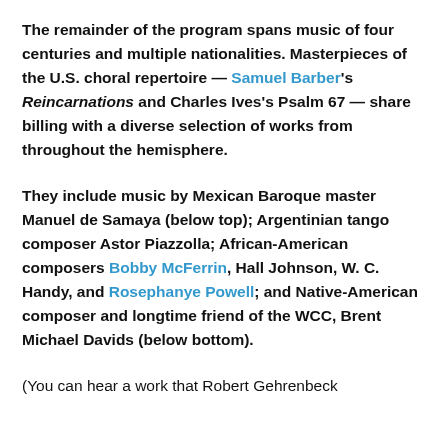The remainder of the program spans music of four centuries and multiple nationalities. Masterpieces of the U.S. choral repertoire — Samuel Barber's Reincarnations and Charles Ives's Psalm 67 — share billing with a diverse selection of works from throughout the hemisphere.
They include music by Mexican Baroque master Manuel de Samaya (below top); Argentinian tango composer Astor Piazzolla; African-American composers Bobby McFerrin, Hall Johnson, W. C. Handy, and Rosephanye Powell; and Native-American composer and longtime friend of the WCC, Brent Michael Davids (below bottom).
(You can hear a work that Robert Gehrenbeck